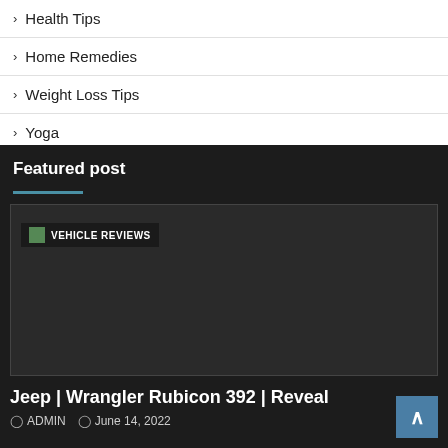> Health Tips
> Home Remedies
> Weight Loss Tips
> Yoga
Featured post
[Figure (photo): Dark box with 'VEHICLE REVIEWS' tag and a small green image placeholder in the top left corner]
Jeep | Wrangler Rubicon 392 | Reveal
ADMIN   June 14, 2022